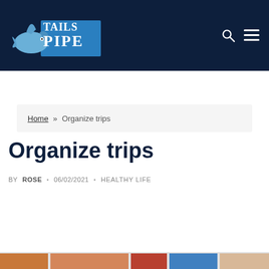[Figure (logo): Tailspipe website logo: shark/dolphin icon with TAILS PIPE text on dark navy background]
Home » Organize trips
Organize trips
BY ROSE • 06/02/2021 • HEALTHY LIFE
[Figure (photo): Partial colorful photo strip at the bottom of the page]